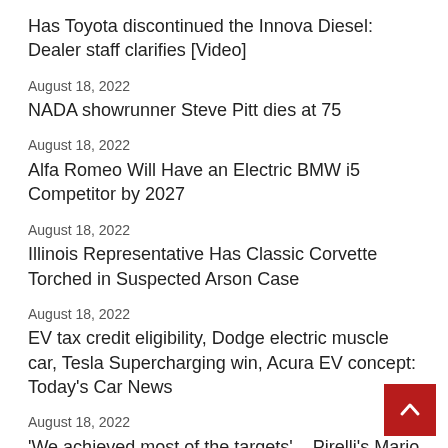Has Toyota discontinued the Innova Diesel: Dealer staff clarifies [Video]
August 18, 2022
NADA showrunner Steve Pitt dies at 75
August 18, 2022
Alfa Romeo Will Have an Electric BMW i5 Competitor by 2027
August 18, 2022
Illinois Representative Has Classic Corvette Torched in Suspected Arson Case
August 18, 2022
EV tax credit eligibility, Dodge electric muscle car, Tesla Supercharging win, Acura EV concept: Today's Car News
August 18, 2022
'We achieved most of the targets' – Pirelli's Mario Iso... talks 2022 successes, changes for 2023 and sustainability